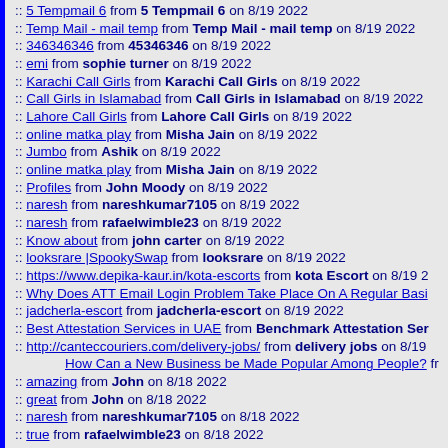:: 5 Tempmail 6 from 5 Tempmail 6 on 8/19 2022
:: Temp Mail - mail temp from Temp Mail - mail temp on 8/19 2022
:: 346346346 from 45346346 on 8/19 2022
:: emi from sophie turner on 8/19 2022
:: Karachi Call Girls from Karachi Call Girls on 8/19 2022
:: Call Girls in Islamabad from Call Girls in Islamabad on 8/19 2022
:: Lahore Call Girls from Lahore Call Girls on 8/19 2022
:: online matka play from Misha Jain on 8/19 2022
:: Jumbo from Ashik on 8/19 2022
:: online matka play from Misha Jain on 8/19 2022
:: Profiles from John Moody on 8/19 2022
:: naresh from nareshkumar7105 on 8/19 2022
:: naresh from rafaelwimble23 on 8/19 2022
:: Know about from john carter on 8/19 2022
:: looksrare |SpookySwap from looksrare on 8/19 2022
:: https://www.depika-kaur.in/kota-escorts from kota Escort on 8/19 2
:: Why Does ATT Email Login Problem Take Place On A Regular Basi
:: jadcherla-escort from jadcherla-escort on 8/19 2022
:: Best Attestation Services in UAE from Benchmark Attestation Ser
:: http://canteccouriers.com/delivery-jobs/ from delivery jobs on 8/19
How Can a New Business be Made Popular Among People? fr
:: amazing from John on 8/18 2022
:: great from John on 8/18 2022
:: naresh from nareshkumar7105 on 8/18 2022
:: true from rafaelwimble23 on 8/18 2022
:: Marketing from Freelance0323 on 8/18 2022
:: Digital Marketing from Ashik on 8/18 2022
:: Escorts in Connaught Place from shivanisharma on 8/18 2022
:: Delhi Escorts from shivanisharma on 8/18 2022
:: Delhi Call Girls from shivanisharma on 8/18 2022